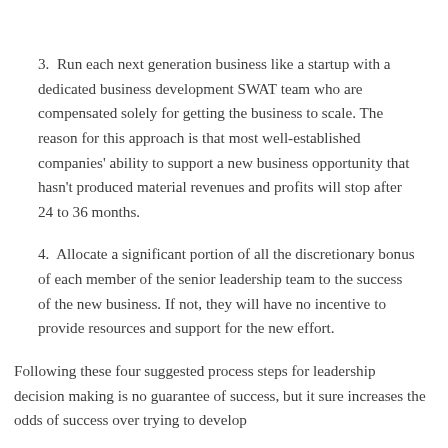3.  Run each next generation business like a startup with a dedicated business development SWAT team who are compensated solely for getting the business to scale. The reason for this approach is that most well-established companies' ability to support a new business opportunity that hasn't produced material revenues and profits will stop after 24 to 36 months.
4.  Allocate a significant portion of all the discretionary bonus of each member of the senior leadership team to the success of the new business. If not, they will have no incentive to provide resources and support for the new effort.
Following these four suggested process steps for leadership decision making is no guarantee of success, but it sure increases the odds of success over trying to develop